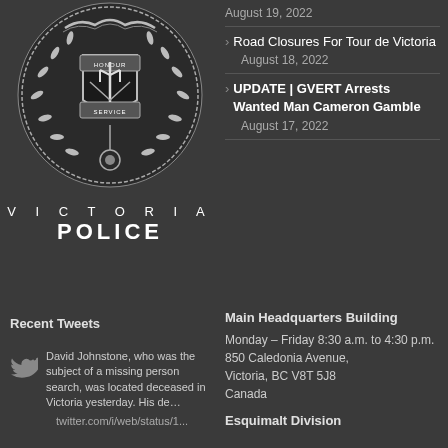[Figure (logo): Victoria Police circular crest/badge logo with wreath, shield and trident motif]
VICTORIA POLICE
Road Closures For Tour de Victoria — August 18, 2022
UPDATE | GVERT Arrests Wanted Man Cameron Gamble — August 17, 2022
Recent Tweets
David Johnstone, who was the subject of a missing person search, was located deceased in Victoria yesterday. His de… twitter.com/i/web/status/1...
Main Headquarters Building
Monday – Friday 8:30 a.m. to 4:30 p.m.
850 Caledonia Avenue,
Victoria, BC V8T 5J8
Canada
Esquimalt Division